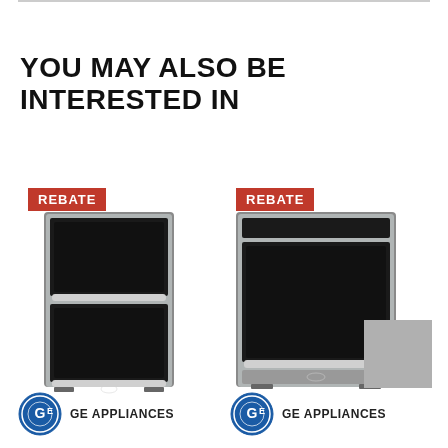YOU MAY ALSO BE INTERESTED IN
[Figure (photo): GE Appliances double wall oven in stainless steel with REBATE badge]
[Figure (logo): GE Appliances logo with text GE APPLIANCES]
[Figure (photo): GE Appliances single wall oven in stainless steel with REBATE badge]
[Figure (logo): GE Appliances logo with text GE APPLIANCES]